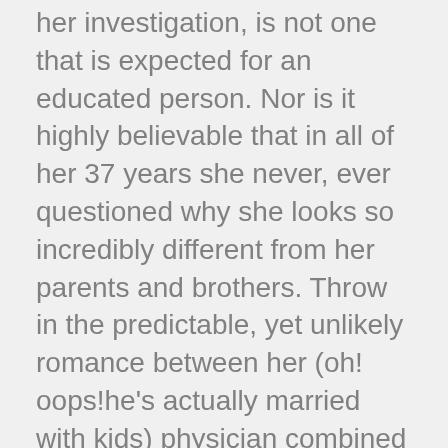her investigation, is not one that is expected for an educated person. Nor is it highly believable that in all of her 37 years she never, ever questioned why she looks so incredibly different from her parents and brothers. Throw in the predictable, yet unlikely romance between her (oh! oops!he's actually married with kids) physician combined with the ridiculous ending and The Bullet didn't match the excitement posed in its premise.
It becomes even more unlikely